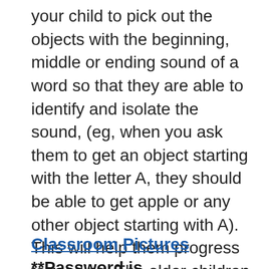your child to pick out the objects with the beginning, middle or ending sound of a word so that they are able to identify and isolate the sound, (eg, when you ask them to get an object starting with the letter A, they should be able to get apple or any other object starting with A). This will help them progress to reading. The older children were introduced to blends. The children are able to share two or three points of interest of all of the topics from February. Please send snow boots, pants and gloves (water proof). Please also send a spoon and/or fork for their lunch.
Classroom Pictures **Password is